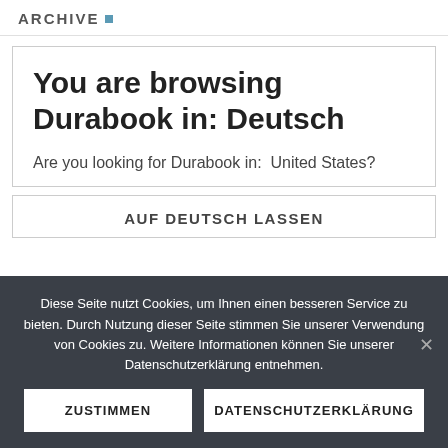ARCHIVE
You are browsing Durabook in: Deutsch
Are you looking for Durabook in:  United States?
AUF DEUTSCH LASSEN
Diese Seite nutzt Cookies, um Ihnen einen besseren Service zu bieten. Durch Nutzung dieser Seite stimmen Sie unserer Verwendung von Cookies zu. Weitere Informationen können Sie unserer Datenschutzerklärung entnehmen.
ZUSTIMMEN
DATENSCHUTZERKLÄRUNG